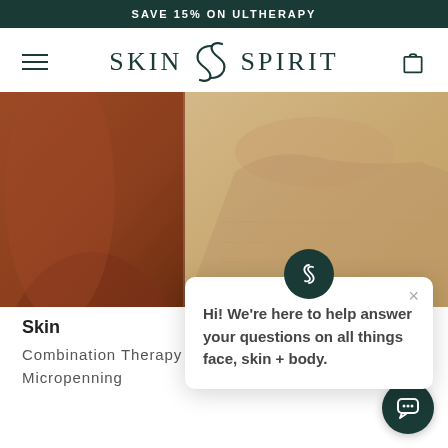SAVE 15% ON ULTHERAPY
[Figure (logo): Skin Spirit logo with stylized S swirl and serif text SKIN SPIRIT]
[Figure (photo): Two women side by side, one in rust/terracotta top, one in beige knit top]
Skin
Combination Therapy Micropenning
Hi! We're here to help answer your questions on all things face, skin + body.